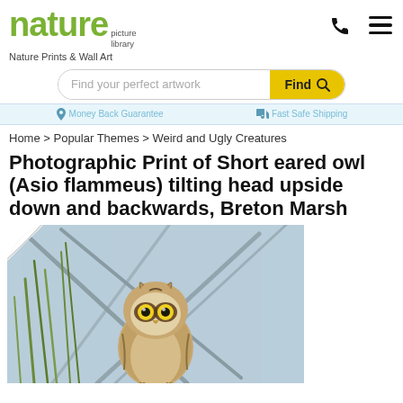nature picture library
Nature Prints & Wall Art
Find your perfect artwork  Find
Money Back Guarantee   Fast Safe Shipping
Home > Popular Themes > Weird and Ugly Creatures
Photographic Print of Short eared owl (Asio flammeus) tilting head upside down and backwards, Breton Marsh
[Figure (photo): Photo of a short-eared owl (Asio flammeus) tilting its head upside down and backwards, perched among reeds/grass in Breton Marsh. The owl faces forward with distinctive yellow eyes. The image is presented as a photographic print with a curled top-left corner effect.]